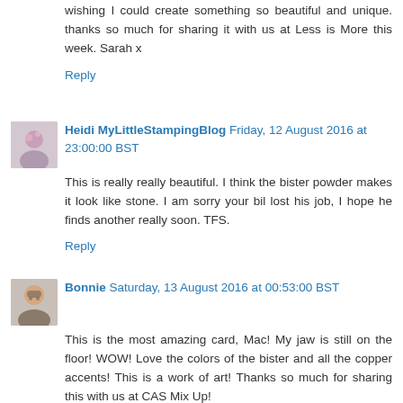wishing I could create something so beautiful and unique. thanks so much for sharing it with us at Less is More this week. Sarah x
Reply
Heidi MyLittleStampingBlog Friday, 12 August 2016 at 23:00:00 BST
This is really really beautiful. I think the bister powder makes it look like stone. I am sorry your bil lost his job, I hope he finds another really soon. TFS.
Reply
Bonnie Saturday, 13 August 2016 at 00:53:00 BST
This is the most amazing card, Mac! My jaw is still on the floor! WOW! Love the colors of the bister and all the copper accents! This is a work of art! Thanks so much for sharing this with us at CAS Mix Up!
Reply